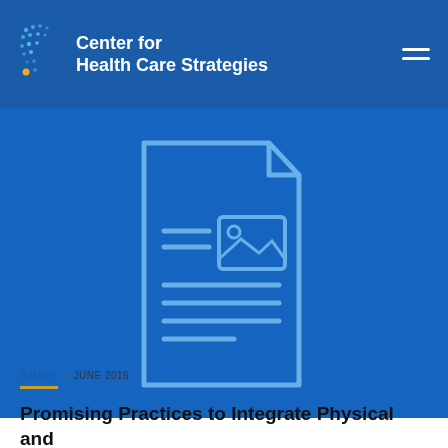Center for Health Care Strategies
[Figure (illustration): Document icon illustration — a blue outlined document with a folded top-right corner, containing horizontal lines and a small image placeholder icon, on a blue background]
BRIEF • JUNE 2016
Promising Practices to Integrate Physical and